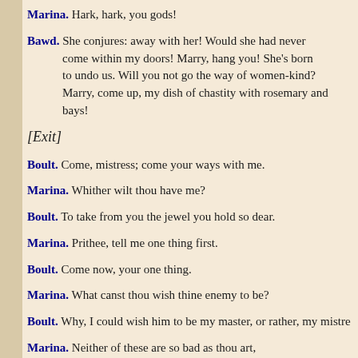Marina. Hark, hark, you gods!
Bawd. She conjures: away with her! Would she had never come within my doors! Marry, hang you! She's born to undo us. Will you not go the way of women-kind? Marry, come up, my dish of chastity with rosemary and bays!
[Exit]
Boult. Come, mistress; come your ways with me.
Marina. Whither wilt thou have me?
Boult. To take from you the jewel you hold so dear.
Marina. Prithee, tell me one thing first.
Boult. Come now, your one thing.
Marina. What canst thou wish thine enemy to be?
Boult. Why, I could wish him to be my master, or rather, my mistre...
Marina. Neither of these are so bad as thou art, Since they do better thee in their command. Thou hold'st a place, for which the pained'st fiend Of hell would not in reputation change: